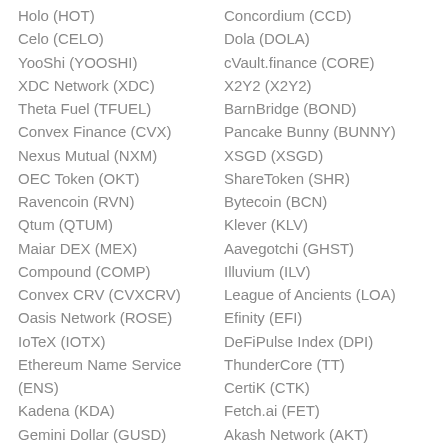Holo (HOT)
Concordium (CCD)
Celo (CELO)
Dola (DOLA)
YooShi (YOOSHI)
cVault.finance (CORE)
XDC Network (XDC)
X2Y2 (X2Y2)
Theta Fuel (TFUEL)
BarnBridge (BOND)
Convex Finance (CVX)
Pancake Bunny (BUNNY)
Nexus Mutual (NXM)
XSGD (XSGD)
OEC Token (OKT)
ShareToken (SHR)
Ravencoin (RVN)
Bytecoin (BCN)
Qtum (QTUM)
Klever (KLV)
Maiar DEX (MEX)
Aavegotchi (GHST)
Compound (COMP)
Illuvium (ILV)
Convex CRV (CVXCRV)
League of Ancients (LOA)
Oasis Network (ROSE)
Efinity (EFI)
IoTeX (IOTX)
DeFiPulse Index (DPI)
Ethereum Name Service (ENS)
ThunderCore (TT)
CertiK (CTK)
Kadena (KDA)
Fetch.ai (FET)
Gemini Dollar (GUSD)
Akash Network (AKT)